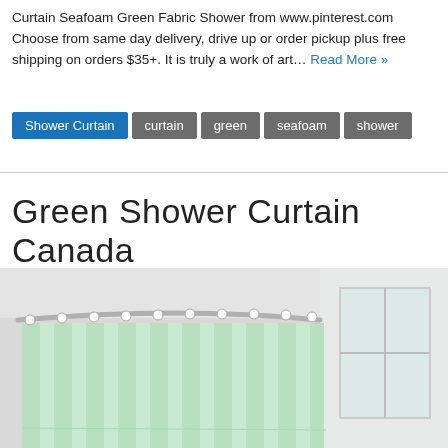Curtain Seafoam Green Fabric Shower from www.pinterest.com Choose from same day delivery, drive up or order pickup plus free shipping on orders $35+. It is truly a work of art… Read More »
Shower Curtain
curtain
green
seafoam
shower
Green Shower Curtain Canada
[Figure (photo): A light green/seafoam shower curtain hanging from a curved chrome rod in a bathroom with a window visible on the right side.]